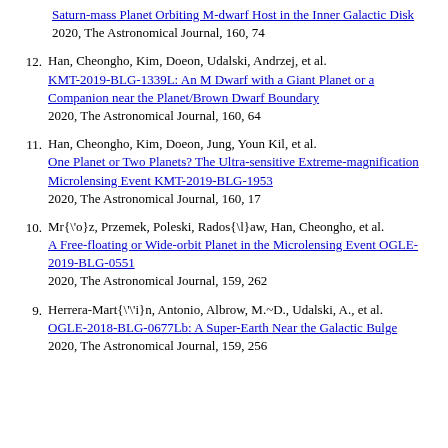Saturn-mass Planet Orbiting M-dwarf Host in the Inner Galactic Disk 2020, The Astronomical Journal, 160, 74
12. Han, Cheongho, Kim, Doeon, Udalski, Andrzej, et al. KMT-2019-BLG-1339L: An M Dwarf with a Giant Planet or a Companion near the Planet/Brown Dwarf Boundary 2020, The Astronomical Journal, 160, 64
11. Han, Cheongho, Kim, Doeon, Jung, Youn Kil, et al. One Planet or Two Planets? The Ultra-sensitive Extreme-magnification Microlensing Event KMT-2019-BLG-1953 2020, The Astronomical Journal, 160, 17
10. Mr{\'o}z, Przemek, Poleski, Rados{\l}aw, Han, Cheongho, et al. A Free-floating or Wide-orbit Planet in the Microlensing Event OGLE-2019-BLG-0551 2020, The Astronomical Journal, 159, 262
9. Herrera-Mart{\'\'i}n, Antonio, Albrow, M.~D., Udalski, A., et al. OGLE-2018-BLG-0677Lb: A Super-Earth Near the Galactic Bulge 2020, The Astronomical Journal, 159, 256